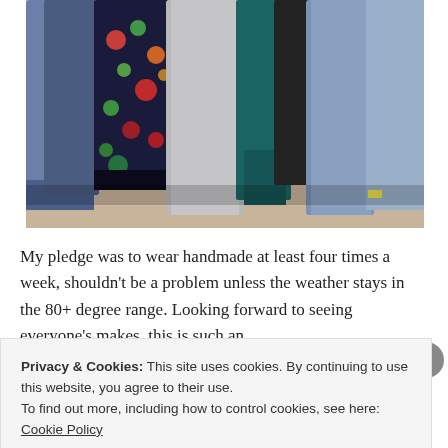[Figure (photo): Photograph of multiple garments hanging together — denim, floral print, gray linen, teal, and other fabrics — viewed from below showing the hemlines resting near a carpeted floor.]
My pledge was to wear handmade at least four times a week, shouldn't be a problem unless the weather stays in the 80+ degree range. Looking forward to seeing everyone's makes, this is such an
Privacy & Cookies: This site uses cookies. By continuing to use this website, you agree to their use.
To find out more, including how to control cookies, see here: Cookie Policy
Close and accept